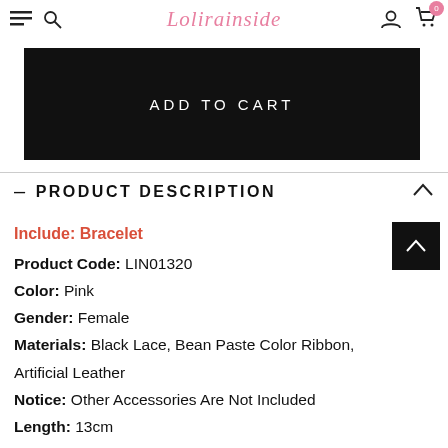Lolifrainside
[Figure (screenshot): ADD TO CART black button]
— PRODUCT DESCRIPTION
Include: Bracelet
Product Code: LIN01320
Color: Pink
Gender: Female
Materials: Black Lace, Bean Paste Color Ribbon, Artificial Leather
Notice: Other Accessories Are Not Included
Length: 13cm
Width: 2.8cm